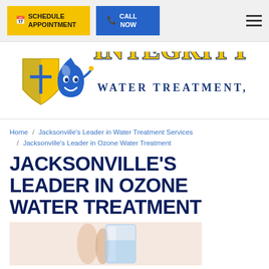SCHEDULE APPOINTMENT | CALL NOW
[Figure (logo): Integrity Water Treatment LLC logo — blue water droplet mascot with gold shield and cross, text INTEGRITY in large gold/blue letters, WATER TREATMENT, LLC below]
Home / Jacksonville's Leader in Water Treatment Services / Jacksonville's Leader in Ozone Water Treatment
JACKSONVILLE'S LEADER IN OZONE WATER TREATMENT
[Figure (photo): Person holding a clear glass of water, close-up photo]